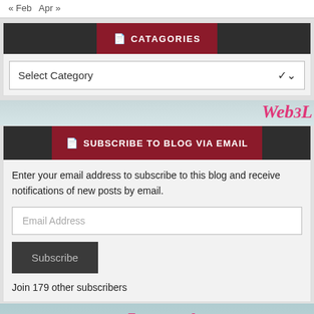« Feb  Apr »
CATAGORIES
Select Category
SUBSCRIBE TO BLOG VIA EMAIL
Enter your email address to subscribe to this blog and receive notifications of new posts by email.
Email Address
Subscribe
Join 179 other subscribers
[Figure (photo): Blog banner image showing italic pink text 'Legacy!' and 'Rhetoric' on a light teal background]
Rhetoric